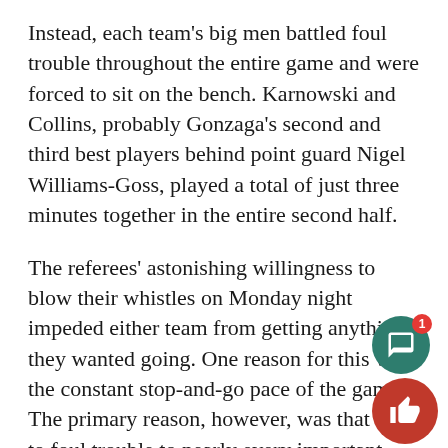Instead, each team's big men battled foul trouble throughout the entire game and were forced to sit on the bench. Karnowski and Collins, probably Gonzaga's second and third best players behind point guard Nigel Williams-Goss, played a total of just three minutes together in the entire second half.
The referees' astonishing willingness to blow their whistles on Monday night impeded either team from getting anything they wanted going. One reason for this was the constant stop-and-go pace of the game. The primary reason, however, was that due to foul trouble to nearly every important player in the game, Gonzaga and North Carolina simply did not have their best players on the floor.
One of the most pivotal moments of the game came with 15 minutes remaining in the second half whe Collins, in an effort to get open on the low-block, was